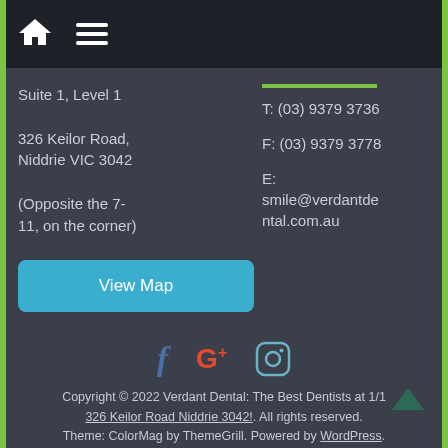[Home icon] [Menu icon]
Suite 1, Level 1

326 Keilor Road,
Niddrie VIC 3042

(Opposite the 7-11, on the corner)
T: (03) 9379 3736

F: (03) 9379 3778

E:
smile@verdantdental.com.au
View Map
[Figure (illustration): Social media icons: Facebook (f), Google+ (G+), Instagram camera icon]
Copyright © 2022 Verdant Dental: The Best Dentists at 1/1 326 Keilor Road Niddrie 3042!. All rights reserved.
Theme: ColorMag by ThemeGrill. Powered by WordPress.